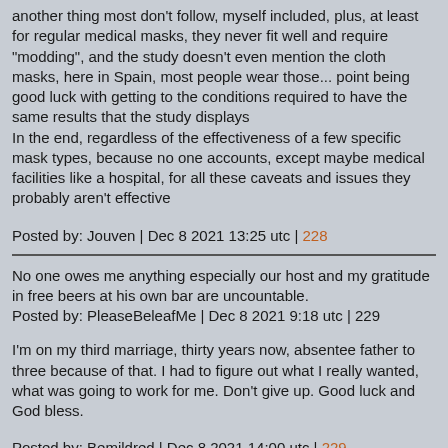another thing most don't follow, myself included, plus, at least for regular medical masks, they never fit well and require "modding", and the study doesn't even mention the cloth masks, here in Spain, most people wear those... point being good luck with getting to the conditions required to have the same results that the study displays
In the end, regardless of the effectiveness of a few specific mask types, because no one accounts, except maybe medical facilities like a hospital, for all these caveats and issues they probably aren't effective
Posted by: Jouven | Dec 8 2021 13:25 utc | 228
No one owes me anything especially our host and my gratitude in free beers at his own bar are uncountable.
Posted by: PleaseBeleafMe | Dec 8 2021 9:18 utc | 229
I'm on my third marriage, thirty years now, absentee father to three because of that. I had to figure out what I really wanted, what was going to work for me. Don't give up. Good luck and God bless.
Posted by: Bemildred | Dec 8 2021 14:00 utc | 229
« previous page